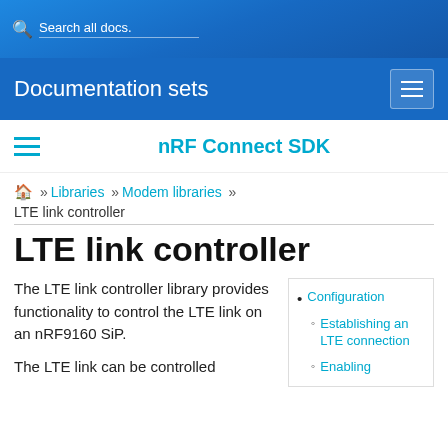Search all docs.
Documentation sets
nRF Connect SDK
🏠 » Libraries » Modem libraries » LTE link controller
LTE link controller
The LTE link controller library provides functionality to control the LTE link on an nRF9160 SiP.
The LTE link can be controlled
Configuration
Establishing an LTE connection
Enabling